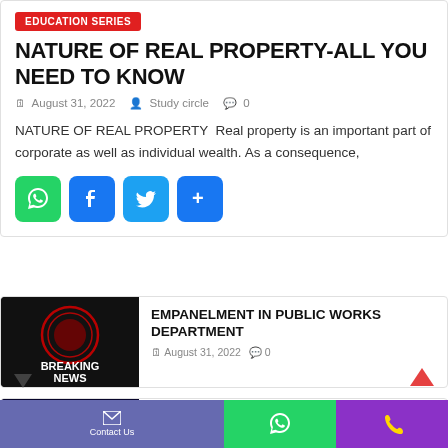EDUCATION SERIES
NATURE OF REAL PROPERTY-ALL YOU NEED TO KNOW
August 31, 2022   Study circle   0
NATURE OF REAL PROPERTY  Real property is an important part of corporate as well as individual wealth. As a consequence,
[Figure (infographic): Social sharing buttons: WhatsApp (green), Facebook (blue), Twitter (light blue), More/Share (blue)]
[Figure (photo): Breaking News logo on dark background with red circular emblem]
EMPANELMENT IN PUBLIC WORKS DEPARTMENT
August 31, 2022   0
[Figure (photo): Glowing blue sphere on dark background]
EMPANELMENT IN HOUSING AND AREA
Contact Us